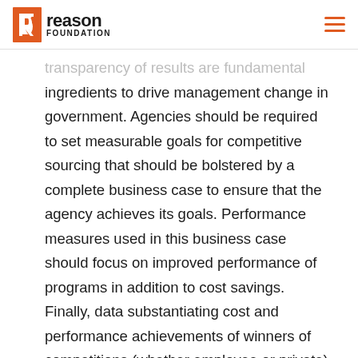Reason Foundation
transparency of results are fundamental ingredients to drive management change in government. Agencies should be required to set measurable goals for competitive sourcing that should be bolstered by a complete business case to ensure that the agency achieves its goals. Performance measures used in this business case should focus on improved performance of programs in addition to cost savings. Finally, data substantiating cost and performance achievements of winners of competitions (whether employee or private) should be maintained by each agency, and bolstered by